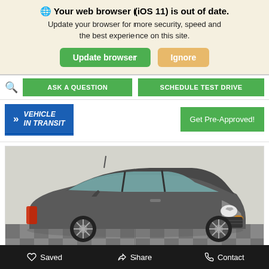🌐 Your web browser (iOS 11) is out of date. Update your browser for more security, speed and the best experience on this site.
Update browser | Ignore
ASK A QUESTION | SCHEDULE TEST DRIVE
VEHICLE IN TRANSIT
Get Pre-Approved!
[Figure (photo): Gray Chevrolet Spark hatchback viewed from front-left angle, parked on checkered floor]
Saved | Share | Contact